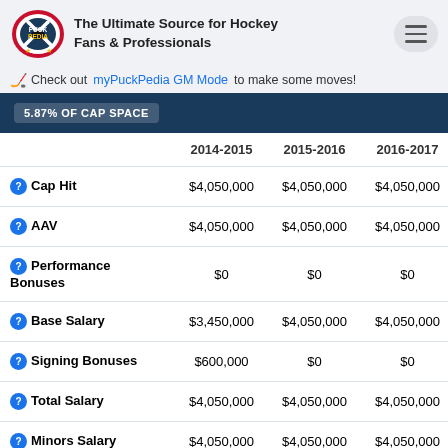PuckPedia – The Ultimate Source for Hockey Fans & Professionals
Check out myPuckPedia GM Mode to make some moves!
|  | 2014-2015 | 2015-2016 | 2016-2017 | 20... |
| --- | --- | --- | --- | --- |
| Cap Hit | $4,050,000 | $4,050,000 | $4,050,000 | $4... |
| AAV | $4,050,000 | $4,050,000 | $4,050,000 | $4... |
| Performance Bonuses | $0 | $0 | $0 |  |
| Base Salary | $3,450,000 | $4,050,000 | $4,050,000 | $4... |
| Signing Bonuses | $600,000 | $0 | $0 |  |
| Total Salary | $4,050,000 | $4,050,000 | $4,050,000 | $4... |
| Minors Salary | $4,050,000 | $4,050,000 | $4,050,000 | $4... |
| Clauses |  |  |  |  |